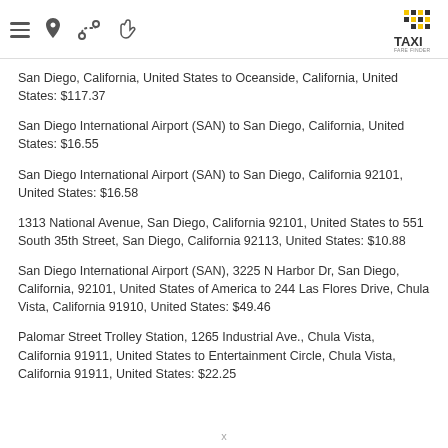Taxi Fare Finder app header with navigation icons and logo
San Diego, California, United States to Oceanside, California, United States: $117.37
San Diego International Airport (SAN) to San Diego, California, United States: $16.55
San Diego International Airport (SAN) to San Diego, California 92101, United States: $16.58
1313 National Avenue, San Diego, California 92101, United States to 551 South 35th Street, San Diego, California 92113, United States: $10.88
San Diego International Airport (SAN), 3225 N Harbor Dr, San Diego, California, 92101, United States of America to 244 Las Flores Drive, Chula Vista, California 91910, United States: $49.46
Palomar Street Trolley Station, 1265 Industrial Ave., Chula Vista, California 91911, United States to Entertainment Circle, Chula Vista, California 91911, United States: $22.25
x